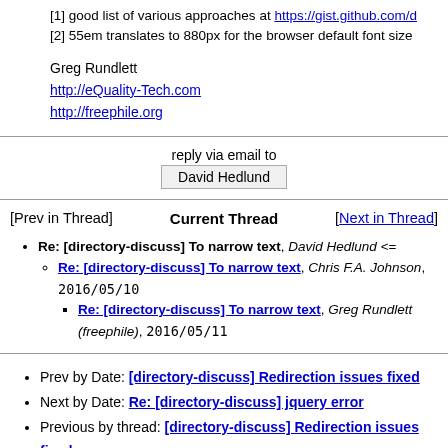[1] good list of various approaches at https://gist.github.com/d
[2] 55em translates to 880px for the browser default font size
Greg Rundlett
http://eQuality-Tech.com
http://freephile.org
reply via email to
David Hedlund
[Prev in Thread]   Current Thread   [Next in Thread]
Re: [directory-discuss] To narrow text, David Hedlund <=
Re: [directory-discuss] To narrow text, Chris F.A. Johnson, 2016/05/10
Re: [directory-discuss] To narrow text, Greg Rundlett (freephile), 2016/05/11
Prev by Date: [directory-discuss] Redirection issues fixed
Next by Date: Re: [directory-discuss] jquery error
Previous by thread: [directory-discuss] Redirection issues fixed